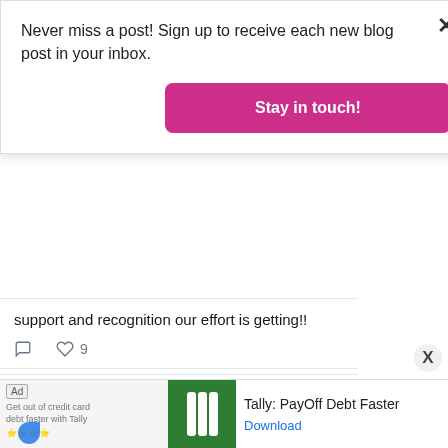Never miss a post! Sign up to receive each new blog post in your inbox.
Stay in touch!
support and recognition our effort is getting!!
9
Sue Kerr 🐱🐱🦄🐱 Retweeted
Cindy @SmartyPants_... · 16h
The local news reported that neither Mehmet Oz or Doug Mastriano commented on whether they would attend the Labor Day parade in
Ad  Tally: PayOff Debt Faster  Download